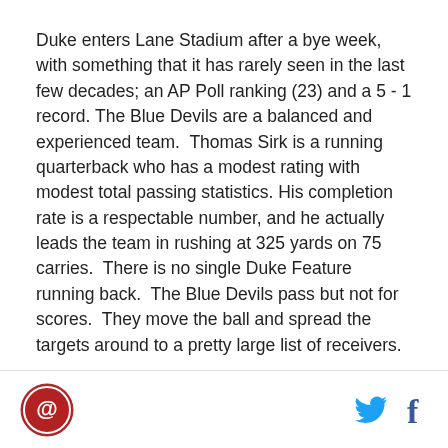Duke enters Lane Stadium after a bye week, with something that it has rarely seen in the last few decades; an AP Poll ranking (23) and a 5 - 1 record. The Blue Devils are a balanced and experienced team. Thomas Sirk is a running quarterback who has a modest rating with modest total passing statistics. His completion rate is a respectable number, and he actually leads the team in rushing at 325 yards on 75 carries. There is no single Duke Feature running back. The Blue Devils pass but not for scores. They move the ball and spread the targets around to a pretty large list of receivers.
Logo | Twitter | Facebook